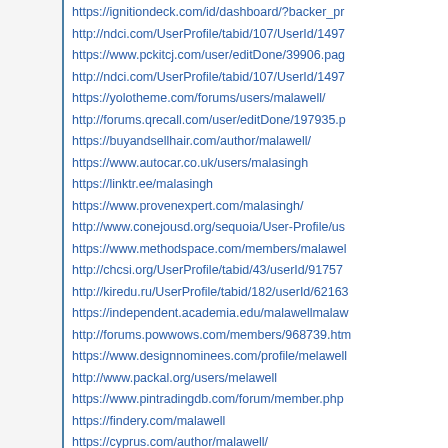https://ignitiondeck.com/id/dashboard/?backer_pr...
http://ndci.com/UserProfile/tabid/107/UserId/1497...
https://www.pckitcj.com/user/editDone/39906.pag...
http://ndci.com/UserProfile/tabid/107/UserId/1497...
https://yolotheme.com/forums/users/malawell/
http://forums.qrecall.com/user/editDone/197935.p...
https://buyandsellhair.com/author/malawell/
https://www.autocar.co.uk/users/malasingh
https://linktr.ee/malasingh
https://www.provenexpert.com/malasingh/
http://www.conejousd.org/sequoia/User-Profile/us...
https://www.methodspace.com/members/malawel...
http://chcsi.org/UserProfile/tabid/43/userId/91757...
http://kiredu.ru/UserProfile/tabid/182/userId/62163...
https://independent.academia.edu/malawellmalaw...
http://forums.powwows.com/members/968739.htm...
https://www.designnominees.com/profile/melawell...
http://www.packal.org/users/melawell
https://www.pintradingdb.com/forum/member.php...
https://findery.com/malawell
https://cyprus.com/author/malawell/
https://sweek.com/profile/1713559/74088
http://maisoncarlos.com/UserProfile/tabid/42/user...
http://vetiverhairspa.com/UserProfile/tabid/807/Us...
https://livevictoria.com/index.php?user_action=in...